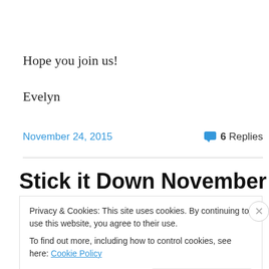Hope you join us!
Evelyn
November 24, 2015
6 Replies
Stick it Down November Blog
Privacy & Cookies: This site uses cookies. By continuing to use this website, you agree to their use.
To find out more, including how to control cookies, see here: Cookie Policy
Close and accept